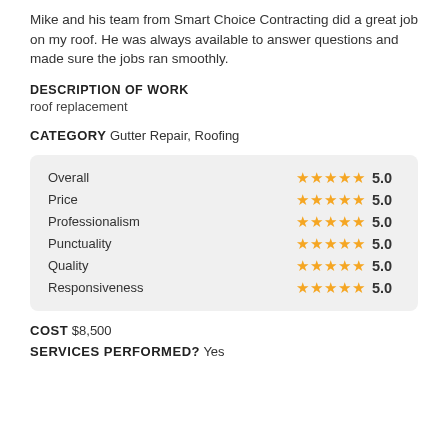Mike and his team from Smart Choice Contracting did a great job on my roof. He was always available to answer questions and made sure the jobs ran smoothly.
DESCRIPTION OF WORK
roof replacement
CATEGORY Gutter Repair, Roofing
| Category | Stars | Score |
| --- | --- | --- |
| Overall | ★★★★★ | 5.0 |
| Price | ★★★★★ | 5.0 |
| Professionalism | ★★★★★ | 5.0 |
| Punctuality | ★★★★★ | 5.0 |
| Quality | ★★★★★ | 5.0 |
| Responsiveness | ★★★★★ | 5.0 |
COST $8,500
SERVICES PERFORMED? Yes